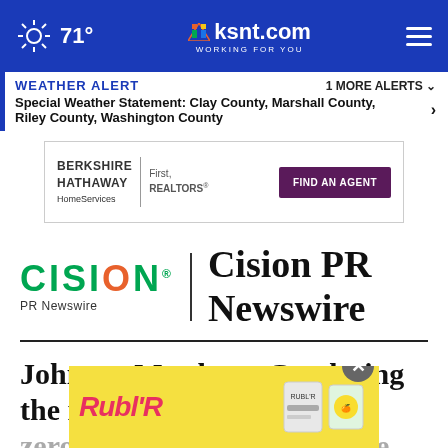71° | ksnt.com WORKING FOR YOU
WEATHER ALERT | 1 MORE ALERTS
Special Weather Statement: Clay County, Marshall County, Riley County, Washington County
[Figure (screenshot): Berkshire Hathaway HomeServices First, REALTORS advertisement with FIND AN AGENT button]
[Figure (logo): Cision PR Newswire logo]
Johnson Matthey - Catalysing the net zero transition to drive value creation
[Figure (advertisement): Rubilr advertisement overlay with close button]